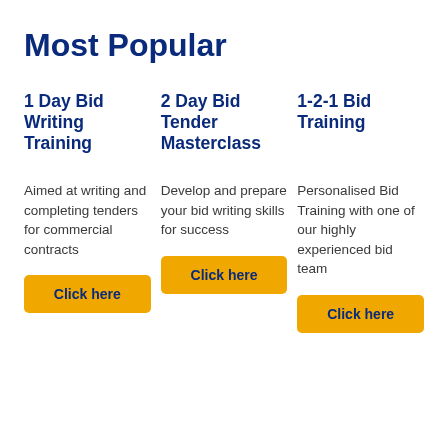Most Popular
1 Day Bid Writing Training
Aimed at writing and completing tenders for commercial contracts
Click here
2 Day Bid Tender Masterclass
Develop and prepare your bid writing skills for success
Click here
1-2-1 Bid Training
Personalised Bid Training with one of our highly experienced bid team
Click here